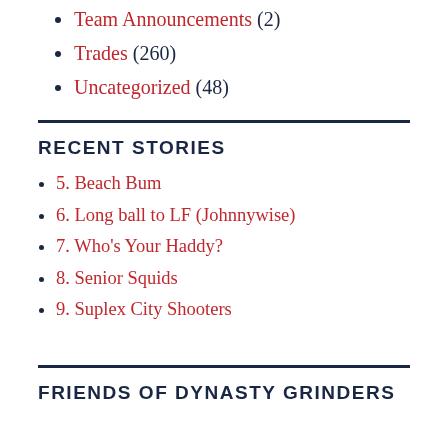Team Announcements (2)
Trades (260)
Uncategorized (48)
RECENT STORIES
5. Beach Bum
6. Long ball to LF (Johnnywise)
7. Who's Your Haddy?
8. Senior Squids
9. Suplex City Shooters
FRIENDS OF DYNASTY GRINDERS